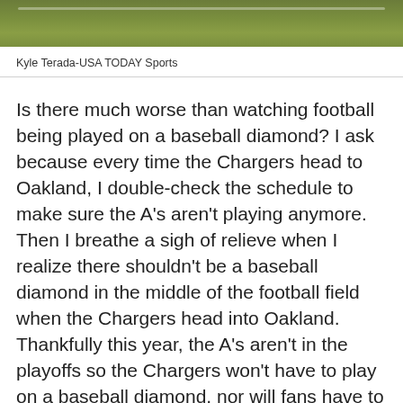[Figure (photo): Aerial or close-up view of a green grass sports field, shown as a narrow strip at the top of the page.]
Kyle Terada-USA TODAY Sports
Is there much worse than watching football being played on a baseball diamond? I ask because every time the Chargers head to Oakland, I double-check the schedule to make sure the A’s aren’t playing anymore. Then I breathe a sigh of relieve when I realize there shouldn’t be a baseball diamond in the middle of the football field when the Chargers head into Oakland. Thankfully this year, the A’s aren’t in the playoffs so the Chargers won’t have to play on a baseball diamond, nor will fans have to wait until 10:00pm for the game to start like what happened in 2013.